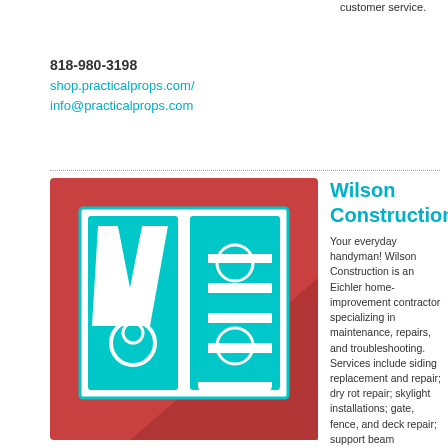customer service.
818-980-3198
shop.practicalprops.com/
info@practicalprops.com
[Figure (logo): Wilson Construction logo: red square background with teal/cyan WC letters and geometric decorative pattern, with diagonal shadow]
Wilson Construction
Your everyday handyman! Wilson Construction is an Eichler home-improvement contractor specializing in maintenance, repairs, and troubleshooting. Services include siding replacement and repair; dry rot repair; skylight installations; gate, fence, and deck repair; support beam restoration; dryrot repair; door hardware replacement, and other exterior upgrades. No job is too small for Wilson. State License #933336